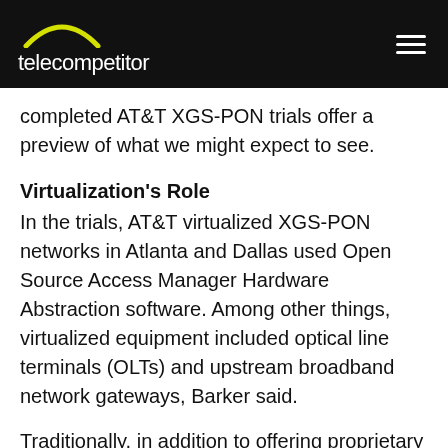telecompetitor
completed AT&T XGS-PON trials offer a preview of what we might expect to see.
Virtualization's Role
In the trials, AT&T virtualized XGS-PON networks in Atlanta and Dallas used Open Source Access Manager Hardware Abstraction software. Among other things, virtualized equipment included optical line terminals (OLTs) and upstream broadband network gateways, Barker said.
Traditionally, in addition to offering proprietary OLTs and broadband network gateways, vendors also would have offered element management systems that only work their own equipment. Barker explained, and that